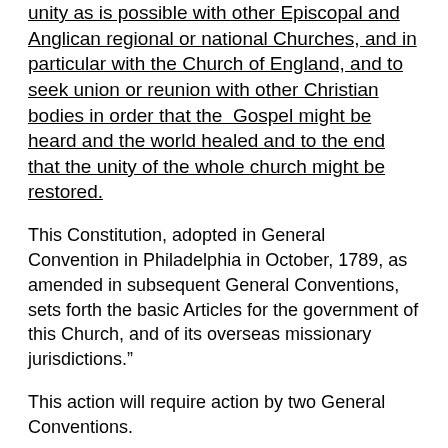unity as is possible with other Episcopal and Anglican regional or national Churches, and in particular with the Church of England, and to seek union or reunion with other Christian bodies in order that the Gospel might be heard and the world healed and to the end that the unity of the whole church might be restored.
This Constitution, adopted in General Convention in Philadelphia in October, 1789, as amended in subsequent General Conventions, sets forth the basic Articles for the government of this Church, and of its overseas missionary jurisdictions.”
This action will require action by two General Conventions.
Mark Harris at 3/10/2014 08:19:00 PM
Share
14 comments: